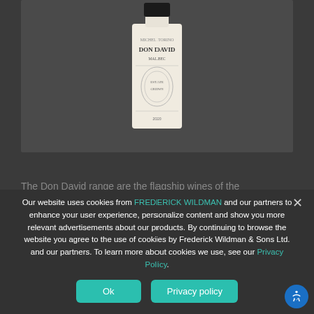[Figure (photo): Product image of Don David wine bottle with label and dark capsule, displayed against a dark gray background]
The Don David range are the flagship wines of the
Our website uses cookies from FREDERICK WILDMAN and our partners to enhance your user experience, personalize content and show you more relevant advertisements about our products. By continuing to browse the website you agree to the use of cookies by Frederick Wildman & Sons Ltd. and our partners. To learn more about cookies we use, see our Privacy Policy.
Ok
Privacy policy